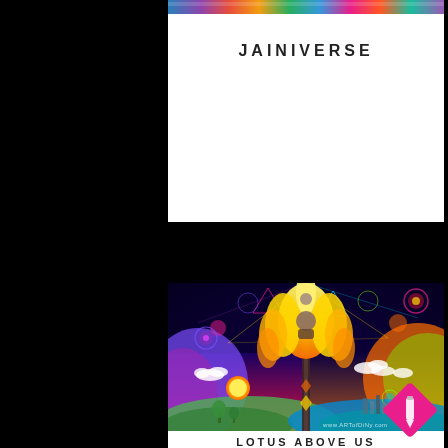[Figure (illustration): Top portion of colorful psychedelic artwork strip (JAINIVERSE)]
JAINIVERSE
[Figure (illustration): Colorful psychedelic illustration showing a large lotus flower with meditating figures, cosmic geometries, vibrant landscape with sun, clouds, trees, city, and rainbow colors. URL watermark: www.ARTofDiNy.com]
LOTUS ABOVE US
[Figure (logo): Pink/magenta diamond shape with a pencil/pen icon inside]